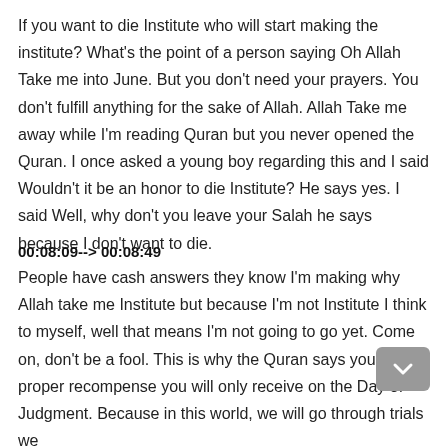If you want to die Institute who will start making the institute? What's the point of a person saying Oh Allah Take me into June. But you don't need your prayers. You don't fulfill anything for the sake of Allah. Allah Take me away while I'm reading Quran but you never opened the Quran. I once asked a young boy regarding this and I said Wouldn't it be an honor to die Institute? He says yes. I said Well, why don't you leave your Salah he says because I don't want to die.
00:08:09--> 00:08:49
People have cash answers they know I'm making why Allah take me Institute but because I'm not Institute I think to myself, well that means I'm not going to go yet. Come on, don't be a fool. This is why the Quran says your proper recompense you will only receive on the Day of Judgment. Because in this world, we will go through trials we